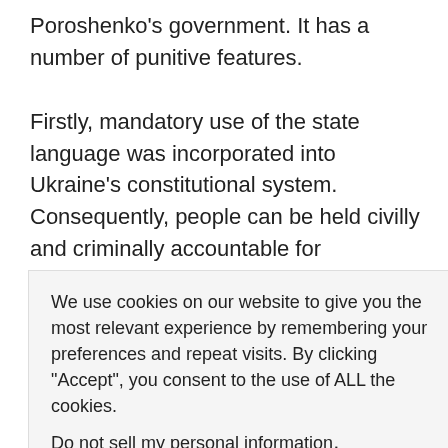Poroshenko's government. It has a number of punitive features.
Firstly, mandatory use of the state language was incorporated into Ukraine's constitutional system. Consequently, people can be held civilly and criminally accountable for “intentional distortion of the Ukrainian language in official documents and texts, in particular,
We use cookies on our website to give you the most relevant experience by remembering your preferences and repeat visits. By clicking “Accept”, you consent to the use of ALL the cookies.
Do not sell my personal information.
[Cookie Settings] [Accept]
uirements of
e state
d restrictions in
t of the law
dia, political
s private
of other
])>